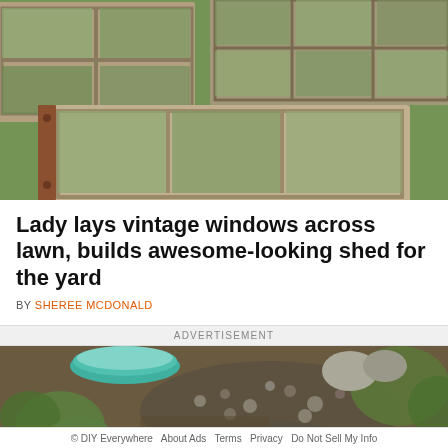[Figure (photo): Old vintage wooden window frames laid flat on green grass lawn, viewed from above, showing multiple panes with glass over growing grass]
Lady lays vintage windows across lawn, builds awesome-looking shed for the yard
BY SHEREE MCDONALD
ADVERTISEMENT
[Figure (photo): Garden scene with rocks, pebbles, a teal/turquoise bowl, a large round stone pot, green plants and soil]
© DIY Everywhere   About Ads   Terms   Privacy   Do Not Sell My Info